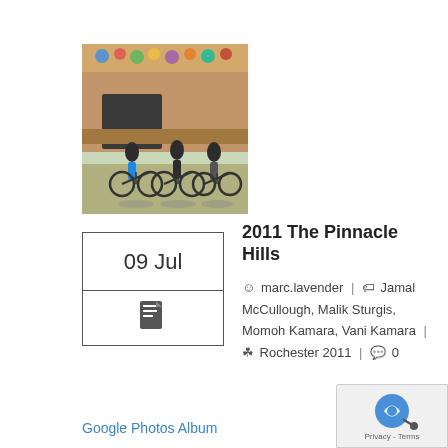[Figure (photo): Outdoor photo of people with bicycles in front of a building with colorful decorations across the top facade. Sunny day.]
09 Jul
[Figure (illustration): Calendar icon with document symbol below]
2011 The Pinnacle Hills
marc.lavender | Jamal McCullough, Malik Sturgis, Momoh Kamara, Vani Kamara | Rochester 2011 | 0
Google Photos Album